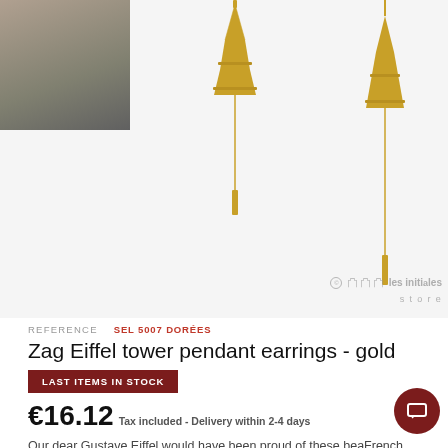[Figure (photo): Product photos of gold Zag Eiffel tower pendant earrings: thumbnail of earring worn, two product shots on white background with 'les initiales store' watermark]
REFERENCE   SEL 5007 DORÉES
Zag Eiffel tower pendant earrings - gold
LAST ITEMS IN STOCK
€16.12  Tax included - Delivery within 2-4 days
Our dear Gustave Eiffel would have been proud of these beautiful French earrings from Zag Bijoux.
316L hypoallergenic stainless surgical steel with fine gold